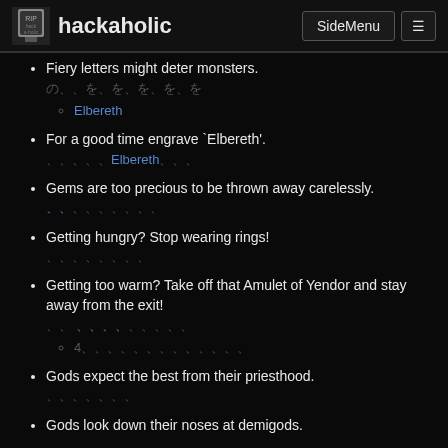hackaholic | SideMenu
Fiery letters might deter monsters.
[Japanese characters]
  • Elbereth
For a good time engrave `Elbereth'.
[Japanese characters]Elbereth[Japanese characters]
Gems are too precious to be thrown away carelessly.
[Japanese characters]
Getting hungry? Stop wearing rings!
[Japanese characters]
Getting too warm? Take off that Amulet of Yendor and stay away from the exit!
[Japanese characters]
  • 4[Japanese characters]
Gods expect the best from their priesthood.
[Japanese characters]
Gods look down their noses at demigods.
[Japanese characters]